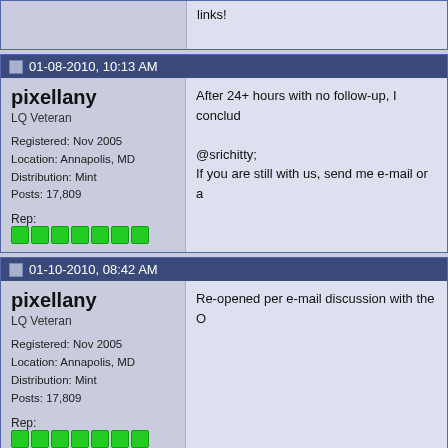links!
01-08-2010, 10:13 AM
pixellany
LQ Veteran
Registered: Nov 2005
Location: Annapolis, MD
Distribution: Mint
Posts: 17,809
Rep:
After 24+ hours with no follow-up, I conclud...

@srichitty;
If you are still with us, send me e-mail or a...
01-10-2010, 08:42 AM
pixellany
LQ Veteran
Registered: Nov 2005
Location: Annapolis, MD
Distribution: Mint
Posts: 17,809
Rep:
Re-opened per e-mail discussion with the O...
01-11-2010, 08:15 AM
pixellany
LQ Veteran
Registered: Nov 2005
In post #3, I asked you what choices are av... options we have to choose from?